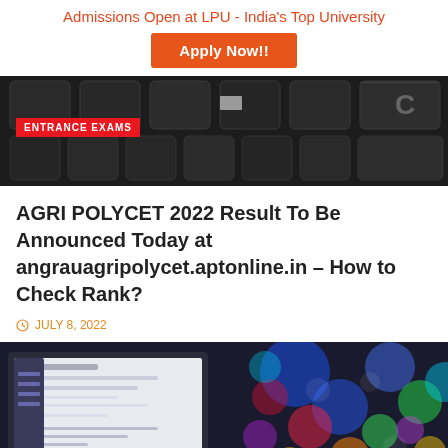Admissions Open at LPU - India's Top University
Apply Now!!
[Figure (photo): Dark keyboard keys close-up with ENTRANCE EXAMS badge overlay]
AGRI POLYCET 2022 Result To Be Announced Today at angrauagripolycet.aptonline.in – How to Check Rank?
JULY 8, 2022
[Figure (photo): Laptop screen showing a website with colorful bokeh lights on the right side]